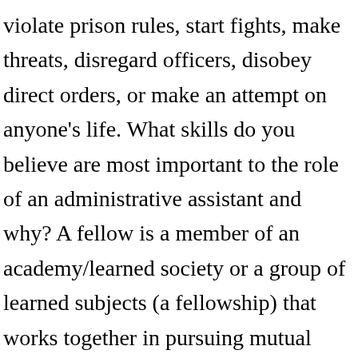violate prison rules, start fights, make threats, disregard officers, disobey direct orders, or make an attempt on anyone's life. What skills do you believe are most important to the role of an administrative assistant and why? A fellow is a member of an academy/learned society or a group of learned subjects (a fellowship) that works together in pursuing mutual knowledge or practice. At the graduate level, fellowship funding is usually preferable to assistantship or training grant funding. 18 administrative fellow interview